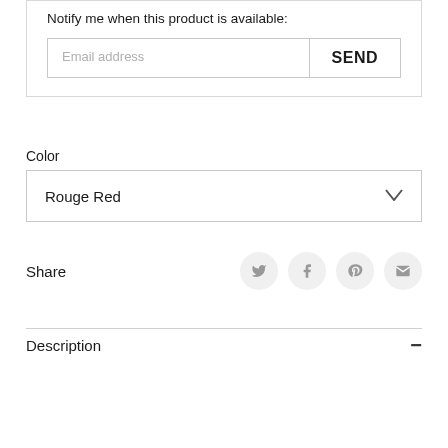Notify me when this product is available:
Email address
SEND
Color
Rouge Red
Share
Description